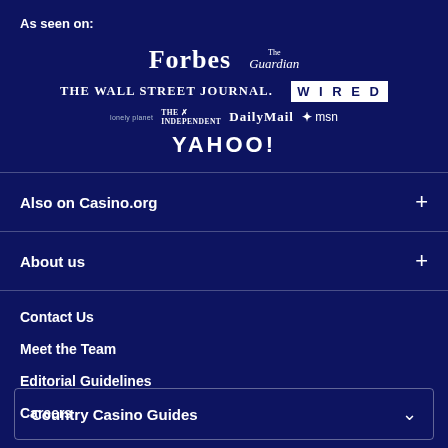As seen on:
[Figure (logo): Media logos: Forbes, The Guardian, The Wall Street Journal, WIRED, Lonely Planet, The Independent, DailyMail, msn, YAHOO!]
Also on Casino.org
About us
Contact Us
Meet the Team
Editorial Guidelines
Careers
Country Casino Guides